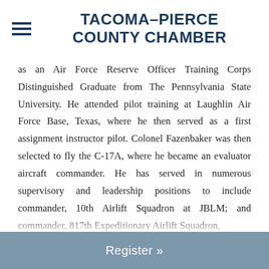TACOMA–PIERCE COUNTY CHAMBER
as an Air Force Reserve Officer Training Corps Distinguished Graduate from The Pennsylvania State University. He attended pilot training at Laughlin Air Force Base, Texas, where he then served as a first assignment instructor pilot. Colonel Fazenbaker was then selected to fly the C-17A, where he became an evaluator aircraft commander. He has served in numerous supervisory and leadership positions to include commander, 10th Airlift Squadron at JBLM; and commander, 817th Expeditionary Airlift Squadron,
Register »